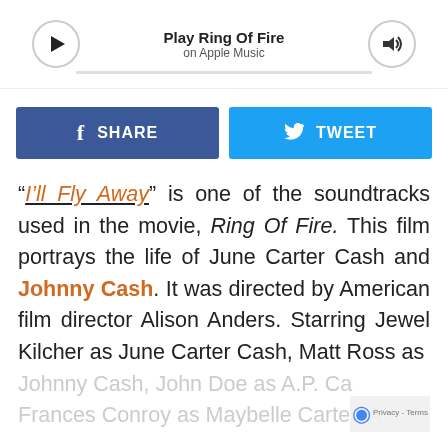[Figure (screenshot): Apple Music player bar showing 'Play Ring Of Fire' with play button, progress bar, and volume button]
[Figure (other): Social sharing buttons: blue Facebook SHARE button and blue Twitter TWEET button]
“I’ll Fly Away” is one of the soundtracks used in the movie, Ring Of Fire. This film portrays the life of June Carter Cash and Johnny Cash. It was directed by American film director Alison Anders. Starring Jewel Kilcher as June Carter Cash, Matt Ross as Johnny Cash, John Doe as A.P. Carter, Frances Conroy as Maybelle Carter, A